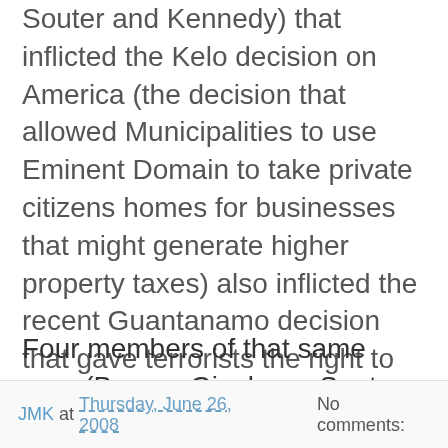Souter and Kennedy) that inflicted the Kelo decision on America (the decision that allowed Municipalities to use Eminent Domain to take private citizens homes for businesses that might generate higher property taxes) also inflicted the recent Guantanamo decision that gave terrorists the right to be heard in American criminal courts, and the recent decision against Capital Punishment for child rapists.
Four members of that same core (Breyer, Ginsburg, Souter and Stephens) have been in the dissent on very positive decisions like the recent one striking down D.C.'s gun ban.
JMK at Thursday, June 26, 2008   No comments: